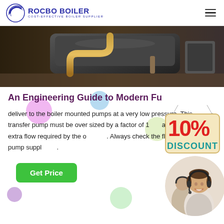ROCBO BOILER — COST-EFFECTIVE BOILER SUPPLIER
[Figure (photo): Industrial boiler equipment photo showing large cylindrical boiler with pipes and connections in a factory setting]
An Engineering Guide to Modern Fu[el Systems]
[Figure (other): 10% DISCOUNT promotional badge in red and teal on a hanging sign]
deliver to the boiler mounted pumps at a very low pressure. This transfer pump must be over sized by a factor of 1 [to] accommodate the extra flow required by the o[verflow]. Always check the flow of the fuel pump suppl[y].
[Figure (photo): Customer service representative woman wearing headset smiling, with another agent in background]
Get Price